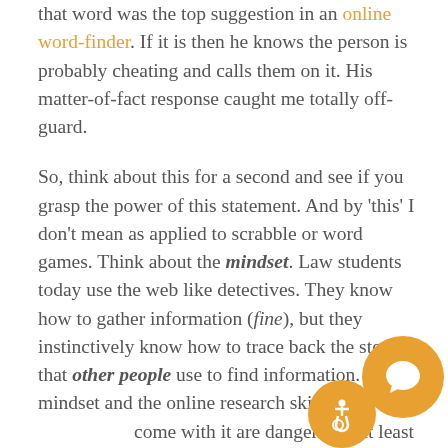that word was the top suggestion in an online word-finder. If it is then he knows the person is probably cheating and calls them on it. His matter-of-fact response caught me totally off-guard.

So, think about this for a second and see if you grasp the power of this statement. And by 'this' I don't mean as applied to scrabble or word games. Think about the mindset. Law students today use the web like detectives. They know how to gather information (fine), but they instinctively know how to trace back the steps that other people use to find information. This mindset and the online research skills that come with it are dangerous. At least to some people.